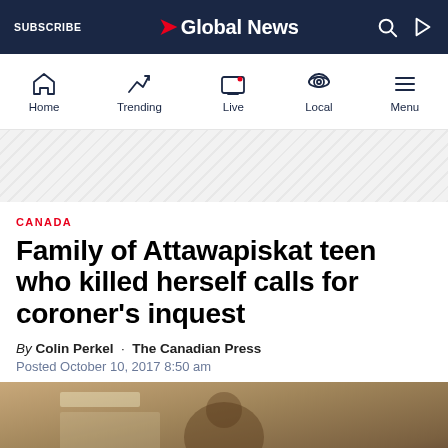SUBSCRIBE | Global News
[Figure (screenshot): Global News mobile navigation bar with Home, Trending, Live, Local, Menu icons]
[Figure (photo): Diagonal stripe ad placeholder banner]
CANADA
Family of Attawapiskat teen who killed herself calls for coroner's inquest
By Colin Perkel · The Canadian Press
Posted October 10, 2017 8:50 am
[Figure (photo): Sepia-toned photograph partially visible at bottom of page]